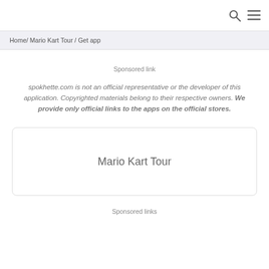🔍 ☰
Home/ Mario Kart Tour / Get app
Sponsored link
spokhette.com is not an official representative or the developer of this application. Copyrighted materials belong to their respective owners. We provide only official links to the apps on the official stores.
Mario Kart Tour
Sponsored links